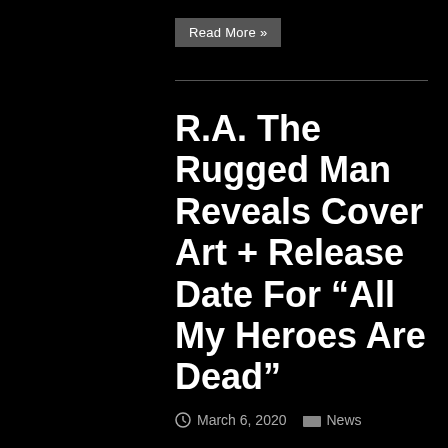Read More »
R.A. The Rugged Man Reveals Cover Art + Release Date For “All My Heroes Are Dead”
March 6, 2020  News